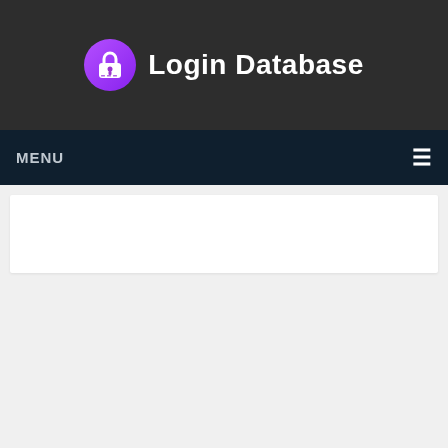Login Database
MENU
[Figure (screenshot): Empty white content card area below navigation]